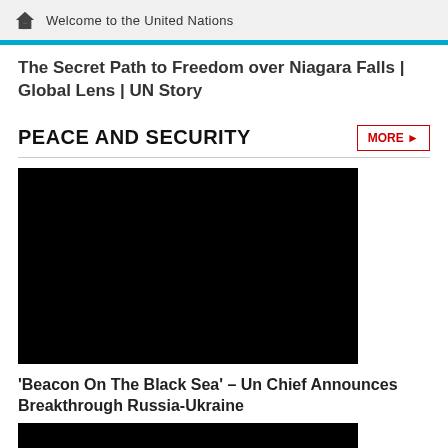Welcome to the United Nations
The Secret Path to Freedom over Niagara Falls | Global Lens | UN Story
PEACE AND SECURITY
[Figure (photo): Black/dark image placeholder for Peace and Security news article]
'Beacon On The Black Sea' – Un Chief Announces Breakthrough Russia-Ukraine
[Figure (photo): Black/dark image placeholder for second news article]